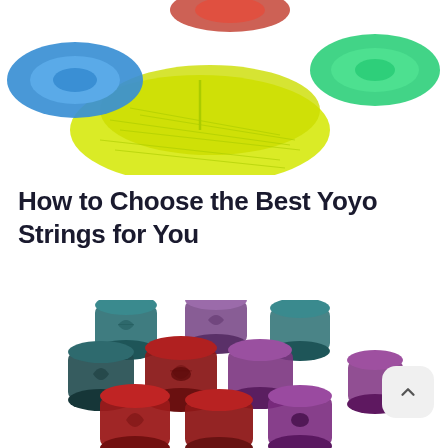[Figure (photo): Colorful yoyos with bright yellow string on a white background, partially cropped at top of page.]
How to Choose the Best Yoyo Strings for You
[Figure (photo): Stack of colorful rolled yoyo string packets in teal, purple, and red/maroon colors with leaf design, piled on white background. A date badge reads 11-04-2022 and a scroll-to-top button is visible.]